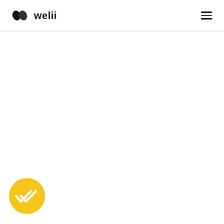welii
[Figure (logo): Welii logo with two overlapping diamond/leaf shapes in dark color followed by the text 'welii' in bold, and a hamburger menu icon on the right]
[Figure (other): Yellow circular badge with a white double-checkmark icon in the bottom-left corner of the page]